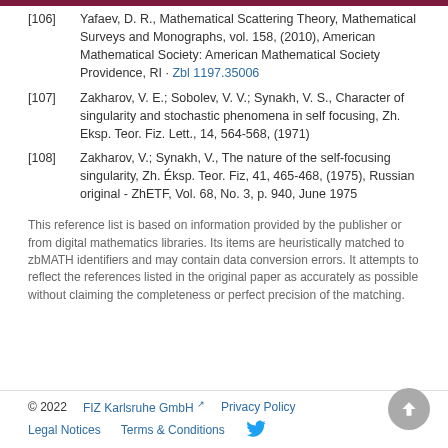[106] Yafaev, D. R., Mathematical Scattering Theory, Mathematical Surveys and Monographs, vol. 158, (2010), American Mathematical Society: American Mathematical Society Providence, RI · Zbl 1197.35006
[107] Zakharov, V. E.; Sobolev, V. V.; Synakh, V. S., Character of singularity and stochastic phenomena in self focusing, Zh. Eksp. Teor. Fiz. Lett., 14, 564-568, (1971)
[108] Zakharov, V.; Synakh, V., The nature of the self-focusing singularity, Zh. Éksp. Teor. Fiz, 41, 465-468, (1975), Russian original - ZhETF, Vol. 68, No. 3, p. 940, June 1975
This reference list is based on information provided by the publisher or from digital mathematics libraries. Its items are heuristically matched to zbMATH identifiers and may contain data conversion errors. It attempts to reflect the references listed in the original paper as accurately as possible without claiming the completeness or perfect precision of the matching.
© 2022   FIZ Karlsruhe GmbH   Privacy Policy   Legal Notices   Terms & Conditions